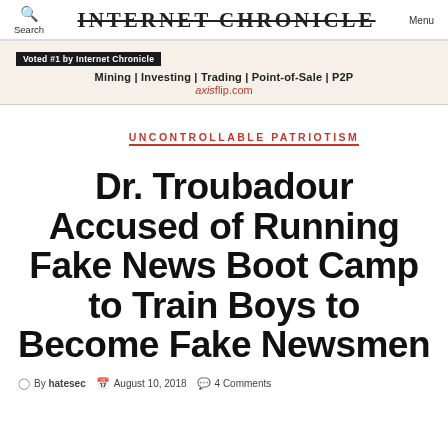Search | INTERNET CHRONICLE | Menu
[Figure (infographic): Ad banner with badge 'Voted #1 by Internet Chronicle', tagline 'Mining | Investing | Trading | Point-of-Sale | P2P', URL 'axisflip.com']
UNCONTROLLABLE PATRIOTISM
Dr. Troubadour Accused of Running Fake News Boot Camp to Train Boys to Become Fake Newsmen
By hatesec   August 10, 2018   4 Comments